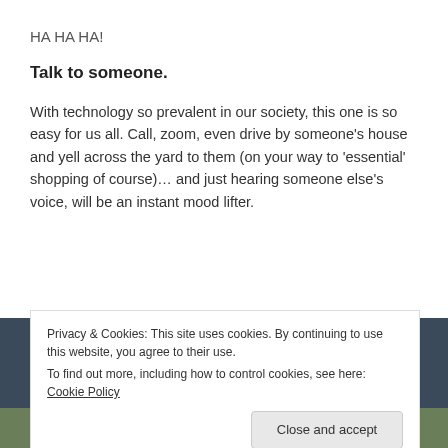HA HA HA!
Talk to someone.
With technology so prevalent in our society, this one is so easy for us all. Call, zoom, even drive by someone’s house and yell across the yard to them (on your way to ‘essential’ shopping of course)… and just hearing someone else’s voice, will be an instant mood lifter.
[Figure (photo): A partial photo of people outdoors with green foliage, partially obscured by a cookie consent banner.]
Privacy & Cookies: This site uses cookies. By continuing to use this website, you agree to their use.
To find out more, including how to control cookies, see here: Cookie Policy
Close and accept